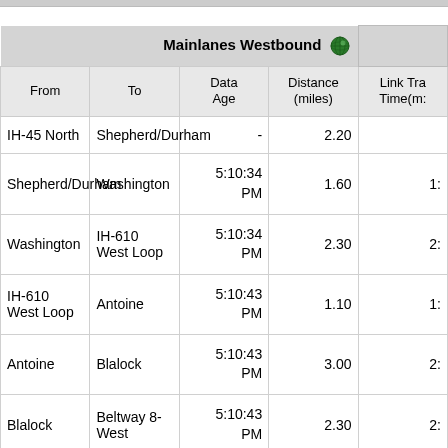| From | To | Data Age | Distance (miles) | Link Travel Time(m:s) |
| --- | --- | --- | --- | --- |
| IH-45 North | Shepherd/Durham | - | 2.20 |  |
| Shepherd/Durham | Washington | 5:10:34 PM | 1.60 | 1: |
| Washington | IH-610 West Loop | 5:10:34 PM | 2.30 | 2: |
| IH-610 West Loop | Antoine | 5:10:43 PM | 1.10 | 1: |
| Antoine | Blalock | 5:10:43 PM | 3.00 | 2: |
| Blalock | Beltway 8-West | 5:10:43 PM | 2.30 | 2: |
| Beltway 8-West | Kirkwood | 5:10:43 PM | 2.00 | 1: |